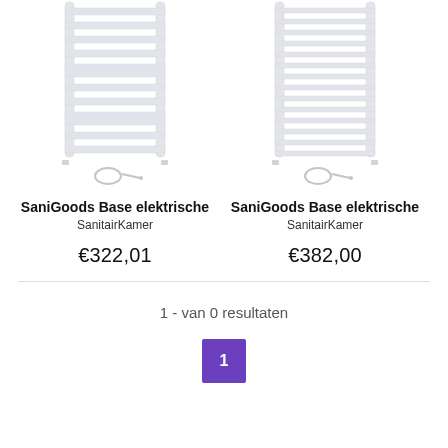[Figure (illustration): SaniGoods Base elektrische towel radiator product image, white, left product]
SaniGoods Base elektrische
SanitairKamer
€322,01
[Figure (illustration): SaniGoods Base elektrische towel radiator product image, white, right product]
SaniGoods Base elektrische
SanitairKamer
€382,00
1 - van 0 resultaten
1